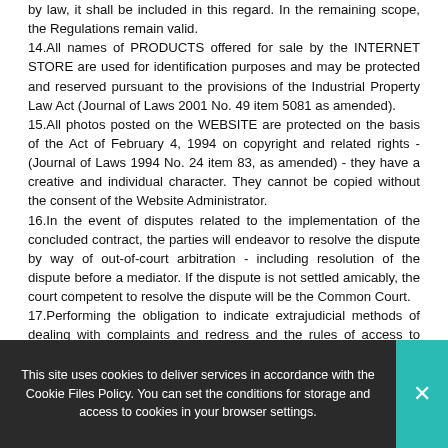by law, it shall be included in this regard. In the remaining scope, the Regulations remain valid.
14.All names of PRODUCTS offered for sale by the INTERNET STORE are used for identification purposes and may be protected and reserved pursuant to the provisions of the Industrial Property Law Act (Journal of Laws 2001 No. 49 item 5081 as amended).
15.All photos posted on the WEBSITE are protected on the basis of the Act of February 4, 1994 on copyright and related rights - (Journal of Laws 1994 No. 24 item 83, as amended) - they have a creative and individual character. They cannot be copied without the consent of the Website Administrator.
16.In the event of disputes related to the implementation of the concluded contract, the parties will endeavor to resolve the dispute by way of out-of-court arbitration - including resolution of the dispute before a mediator. If the dispute is not settled amicably, the court competent to resolve the dispute will be the Common Court.
17.Performing the obligation to indicate extrajudicial methods of dealing with complaints and redress and the rules of access to these procedures, we hereby inform you that up-to-date information in this regard is available at:
This site uses cookies to deliver services in accordance with the Cookie Files Policy. You can set the conditions for storage and access to cookies in your browser settings.